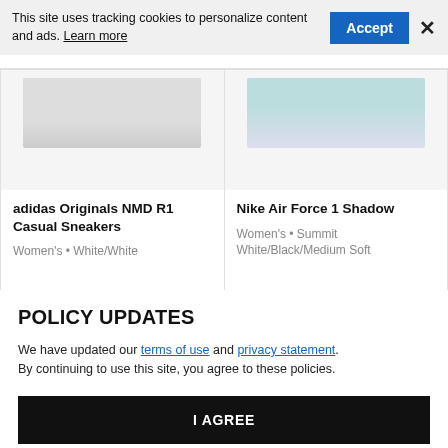This site uses tracking cookies to personalize content and ads. Learn more
Accept
×
[Figure (screenshot): Two product cards showing sneakers: left card shows adidas Originals NMD R1 Casual Sneakers, right card shows Nike Air Force 1 Shadow, each with a product image placeholder at top]
adidas Originals NMD R1 Casual Sneakers
Women's • White/White
Nike Air Force 1 Shadow
Women's • Summit White/Black/Medium Soft
POLICY UPDATES
We have updated our terms of use and privacy statement. By continuing to use this site, you agree to these policies.
I AGREE